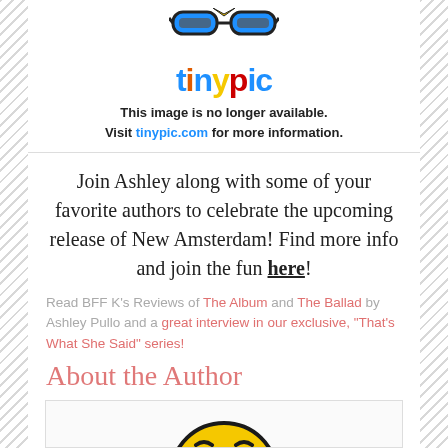[Figure (logo): TinyPic logo with placeholder emoji icon and message: This image is no longer available. Visit tinypic.com for more information.]
Join Ashley along with some of your favorite authors to celebrate the upcoming release of New Amsterdam! Find more info and join the fun here!
Read BFF K's Reviews of The Album and The Ballad by Ashley Pullo and a great interview in our exclusive, "That's What She Said" series!
About the Author
[Figure (illustration): Cartoon emoji face with worried/surprised expression, yellow round face with hands on cheeks, orange ears, dark eyebrows, white eyes with blue highlights.]